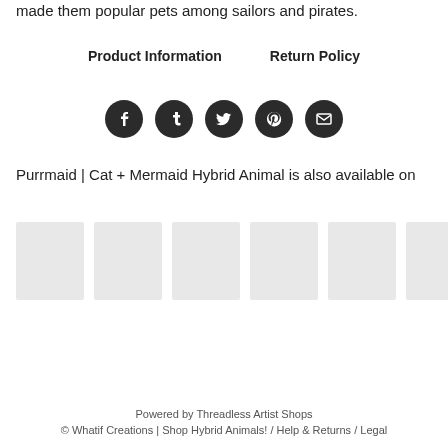made them popular pets among sailors and pirates.
Product Information   Return Policy
[Figure (other): Row of five social media icon buttons (Facebook, Tumblr, Twitter, Pinterest, Email) as dark circles with white icons]
Purrmaid | Cat + Mermaid Hybrid Animal is also available on
[Figure (other): Six light grey product thumbnail placeholder images in a horizontal row]
Powered by Threadless Artist Shops
© Whatif Creations | Shop Hybrid Animals! / Help & Returns / Legal